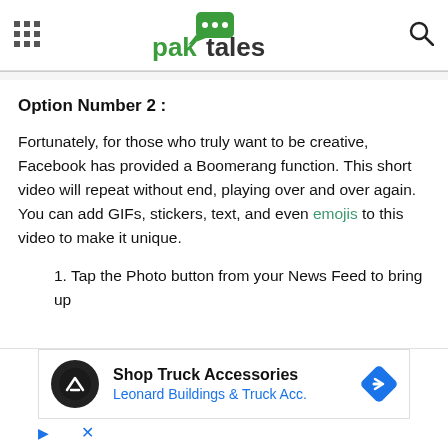paktales
Option Number 2 :
Fortunately, for those who truly want to be creative, Facebook has provided a Boomerang function. This short video will repeat without end, playing over and over again. You can add GIFs, stickers, text, and even emojis to this video to make it unique.
1. Tap the Photo button from your News Feed to bring up the…
[Figure (other): Advertisement banner for Shop Truck Accessories – Leonard Buildings & Truck Acc.]